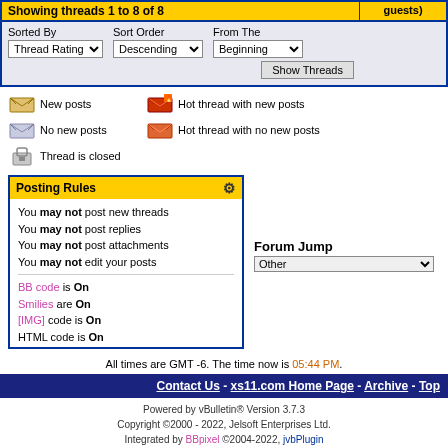Showing threads 1 to 8 of 8
Sorted By: Thread Rating | Sort Order: Descending | From The: Beginning | Show Threads
New posts
Hot thread with new posts
No new posts
Hot thread with no new posts
Thread is closed
Posting Rules
You may not post new threads
You may not post replies
You may not post attachments
You may not edit your posts
BB code is On
Smilies are On
[IMG] code is On
HTML code is On
Forum Jump
Other
All times are GMT -6. The time now is 05:44 PM.
Contact Us - xs11.com Home Page - Archive - Top
Powered by vBulletin® Version 3.7.3
Copyright ©2000 - 2022, Jelsoft Enterprises Ltd.
Integrated by BBpixel ©2004-2022, jvbPlugin